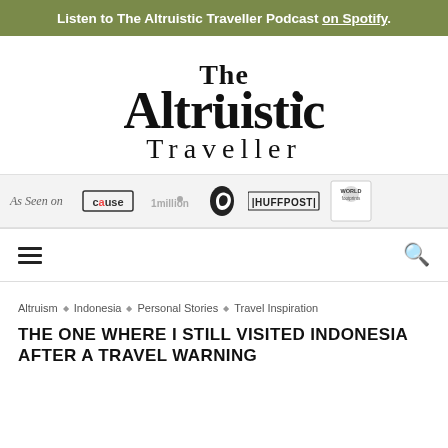Listen to The Altruistic Traveller Podcast on Spotify.
[Figure (logo): The Altruistic Traveller logo in black serif/display font]
[Figure (infographic): As Seen on bar with logos: cause, 1 million, matador network, HUFFPOST, World Footprints]
[Figure (other): Navigation bar with hamburger menu and search icon]
Altruism ◇ Indonesia ◇ Personal Stories ◇ Travel Inspiration
THE ONE WHERE I STILL VISITED INDONESIA AFTER A TRAVEL WARNING